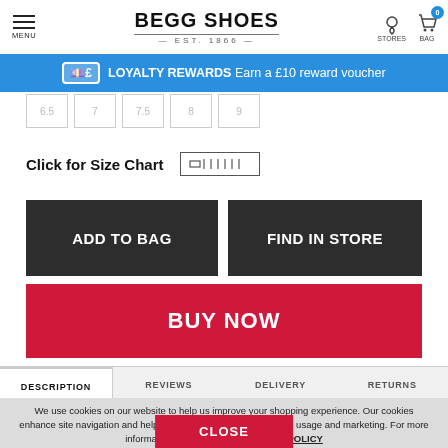BEGG SHOES EST. 1866
LOYALTY REWARDS Earn a £10 reward voucher
Click for Size Chart
ADD TO BAG
FIND IN STORE
BUY NOW
DESCRIPTION | REVIEWS | DELIVERY | RETURNS
We use cookies on our website to help us improve your shopping experience. Our cookies enhance site navigation and help us understand and improve site usage and marketing. For more information please read our PRIVACY POLICY
CLOSE